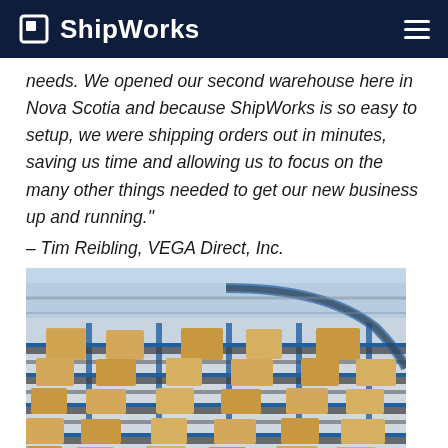ShipWorks
needs. We opened our second warehouse here in Nova Scotia and because ShipWorks is so easy to setup, we were shipping orders out in minutes, saving us time and allowing us to focus on the many other things needed to get our new business up and running." – Tim Reibling, VEGA Direct, Inc.
[Figure (photo): Aerial view of a warehouse conveyor system with cardboard boxes on blue roller conveyors arranged in parallel rows inside a large distribution center.]